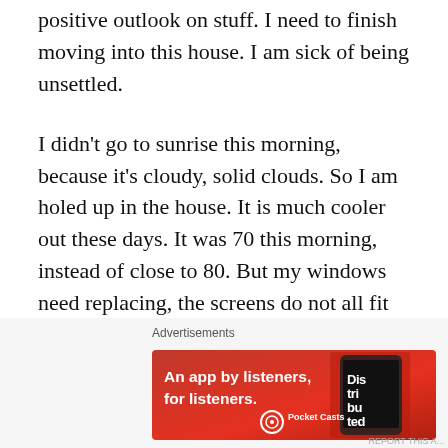positive outlook on stuff. I need to finish moving into this house. I am sick of being unsettled.
I didn't go to sunrise this morning, because it's cloudy, solid clouds. So I am holed up in the house. It is much cooler out these days. It was 70 this morning, instead of close to 80. But my windows need replacing, the screens do not all fit tightly, so I leave the AC on and don't open the windows. I would be inundated with bugs if I opened a window. As it is, they get in the house, I suppose just by opening the door. I am missing the fresh air.
But ok, I can't stand feeling sorry for myself for too long. Yesterday afternoon, my friend Pat called and asked if I
[Figure (other): Advertisement banner for Pocket Casts app - red background with text 'An app by listeners, for listeners.' and Pocket Casts logo, with an image of a phone showing 'Distributed' text]